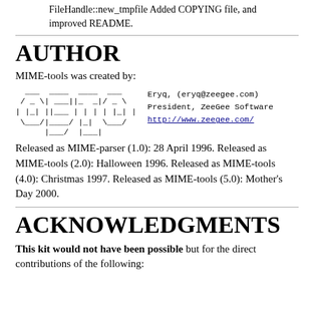FileHandle::new_tmpfile Added COPYING file, and improved README.
AUTHOR
MIME-tools was created by:
[Figure (other): ASCII art logo and author info: Eryq, (eryq@zeegee.com) President, ZeeGee Software http://www.zeegee.com/]
Released as MIME-parser (1.0): 28 April 1996. Released as MIME-tools (2.0): Halloween 1996. Released as MIME-tools (4.0): Christmas 1997. Released as MIME-tools (5.0): Mother's Day 2000.
ACKNOWLEDGMENTS
This kit would not have been possible but for the direct contributions of the following: